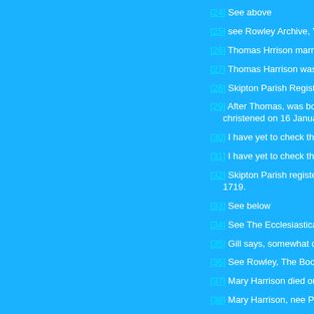[24] See above
[25] see Rowley Archive, Yorkshire D
[26] Thomas Hrrison married Ann Ho
[27] Thomas Harrison was christene
[28] Skipton Parish Registers.
[29] After Thomas, was born Susssa christened on 16 January 1721 and b
[30] I have yet to check this.
[31] I have yet to check the details o
[32] Skipton Parish registers. Thoma 1719.
[33] See below
[34] See The Ecclesiastical Patish of
[35] Gill says, somewhat confusingl
[36] See Rowley, The Book of Skipto
[37] Mary Harrison died on 7 March
[38] Mary Harrison, nee Pettyt, wife
[39] Thomas Harrison died on 3 Feb